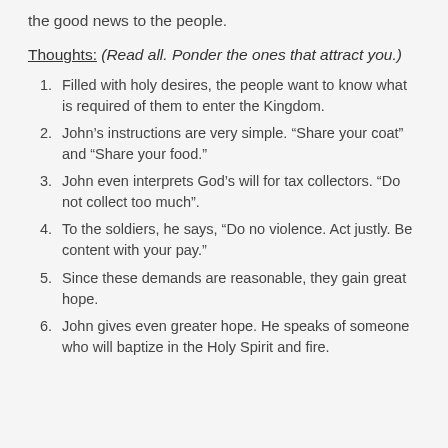the good news to the people.
Thoughts: (Read all. Ponder the ones that attract you.)
Filled with holy desires, the people want to know what is required of them to enter the Kingdom.
John’s instructions are very simple. “Share your coat” and “Share your food.”
John even interprets God’s will for tax collectors. “Do not collect too much”.
To the soldiers, he says, “Do no violence. Act justly. Be content with your pay.”
Since these demands are reasonable, they gain great hope.
John gives even greater hope. He speaks of someone who will baptize in the Holy Spirit and fire.